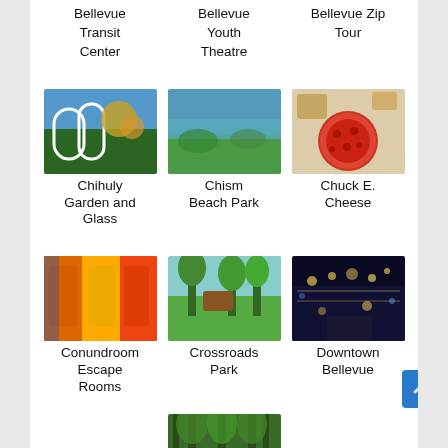Bellevue Transit Center
Bellevue Youth Theatre
Bellevue Zip Tour
[Figure (photo): Chihuly Garden and Glass art installation with colorful glass sculptures and trees]
Chihuly Garden and Glass
[Figure (photo): Chism Beach Park waterfront with green lawn and lake view]
Chism Beach Park
[Figure (photo): Chuck E. Cheese pizza on a table with drinks]
Chuck E. Cheese
[Figure (photo): Conundroom Escape Rooms colorful corridor interior]
Conundroom Escape Rooms
[Figure (photo): Crossroads Park with trees and park structures]
Crossroads Park
[Figure (photo): Downtown Bellevue at night with lights and busy street]
Downtown Bellevue
[Figure (photo): Forest with tall trees, partial view at bottom of page]